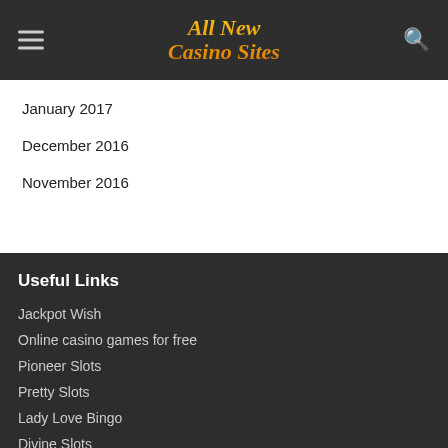All New Casino Sites
January 2017
December 2016
November 2016
Useful Links
Jackpot Wish
Online casino games for free
Pioneer Slots
Pretty Slots
Lady Love Bingo
Divine Slots